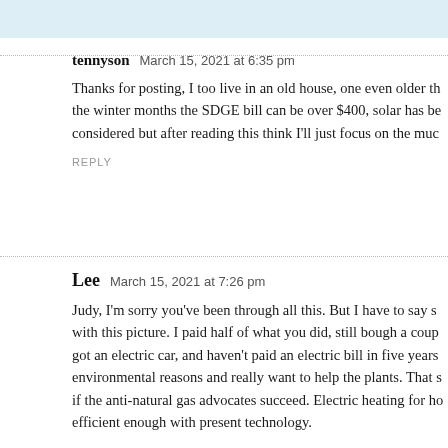tennyson   March 15, 2021 at 6:35 pm
Thanks for posting, I too live in an old house, one even older th... the winter months the SDGE bill can be over $400, solar has be... considered but after reading this think I'll just focus on the muc...
REPLY
Lee   March 15, 2021 at 7:26 pm
Judy, I'm sorry you've been through all this. But I have to say s... with this picture. I paid half of what you did, still bough a coup... got an electric car, and haven't paid an electric bill in five years... environmental reasons and really want to help the plants. That s... if the anti-natural gas advocates succeed. Electric heating for ho... efficient enough with present technology.